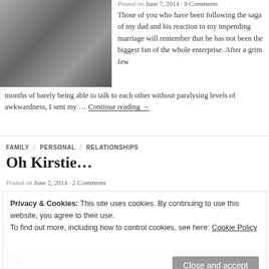[Figure (photo): Photo of a person in white clothing/bedding, dark tones]
Posted on June 7, 2014 · 9 Comments
Those of you who have been following the saga of my dad and his reaction to my impending marriage will remember that he has not been the biggest fan of the whole enterprise. After a grim few months of barely being able to talk to each other without paralysing levels of awkwardness, I sent my … Continue reading →
FAMILY / PERSONAL / RELATIONSHIPS
Oh Kirstie…
Posted on June 2, 2014 · 2 Comments
Privacy & Cookies: This site uses cookies. By continuing to use this website, you agree to their use. To find out more, including how to control cookies, see here: Cookie Policy
Close and accept